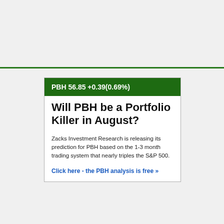PBH 56.85 +0.39(0.69%)
Will PBH be a Portfolio Killer in August?
Zacks Investment Research is releasing its prediction for PBH based on the 1-3 month trading system that nearly triples the S&P 500.
Click here - the PBH analysis is free »